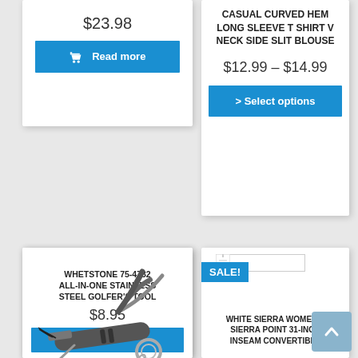$23.98
Read more
CASUAL CURVED HEM LONG SLEEVE T SHIRT V NECK SIDE SLIT BLOUSE
$12.99 – $14.99
> Select options
[Figure (photo): Whetstone 75-4732 All-in-One Stainless Steel Golfer's Tool product photo showing multi-tool with scissors, key ring, brush, and divot tool]
WHETSTONE 75-4732 ALL-IN-ONE STAINLESS STEEL GOLFER'S TOOL
$8.95
SALE!
WHITE SIERRA WOMEN'S SIERRA POINT 31-INCH INSEAM CONVERTIBLE